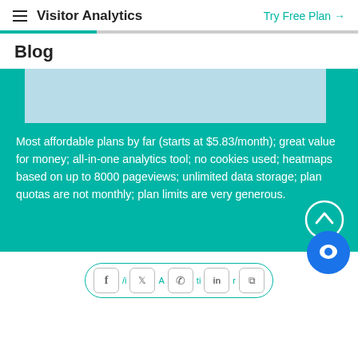Visitor Analytics | Try Free Plan →
Blog
[Figure (screenshot): Light blue image placeholder at top of teal content area]
Most affordable plans by far (starts at $5.83/month); great value for money; all-in-one analytics tool; no cookies used; heatmaps based on up to 8000 pageviews; unlimited data storage; plan quotas are not monthly; plan limits are very generous.
[Figure (illustration): Social media share icons row: Facebook, Twitter/X, WhatsApp, LinkedIn, and another icon, shown in a pill/rounded rectangle border]